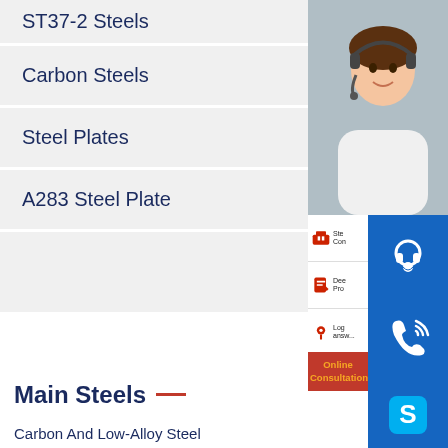ST37-2 Steels
Carbon Steels
Steel Plates
A283 Steel Plate
[Figure (screenshot): Customer service panel with photo of woman with headset, service icons (Steel Construction, Deep Processing, Logistics, After Service), and blue contact buttons (headset, phone, Skype) with Online Consultation bar]
Main Steels
Carbon And Low-Alloy Steel
Shipbuilding Steel